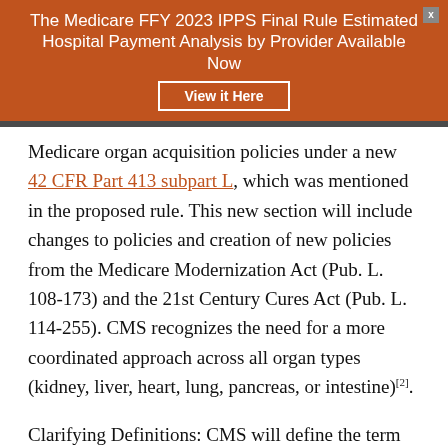The Medicare FFY 2023 IPPS Final Rule Estimated Hospital Payment Analysis by Provider Available Now
View it Here
Medicare organ acquisition policies under a new 42 CFR Part 413 subpart L, which was mentioned in the proposed rule. This new section will include changes to policies and creation of new policies from the Medicare Modernization Act (Pub. L. 108-173) and the 21st Century Cures Act (Pub. L. 114-255). CMS recognizes the need for a more coordinated approach across all organ types (kidney, liver, heart, lung, pancreas, or intestine)[2].
Clarifying Definitions: CMS will define the term